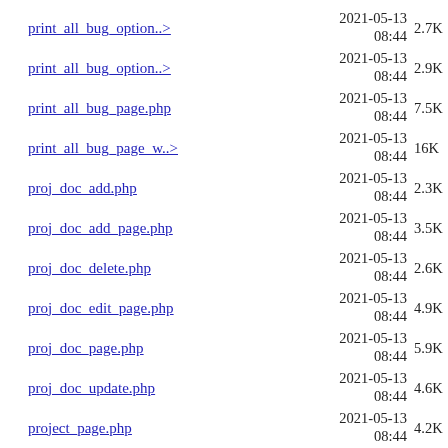print_all_bug_option..>  2021-05-13 08:44  2.7K
print_all_bug_option..>  2021-05-13 08:44  2.9K
print_all_bug_page.php  2021-05-13 08:44  7.5K
print_all_bug_page_w..>  2021-05-13 08:44  16K
proj_doc_add.php  2021-05-13 08:44  2.3K
proj_doc_add_page.php  2021-05-13 08:44  3.5K
proj_doc_delete.php  2021-05-13 08:44  2.6K
proj_doc_edit_page.php  2021-05-13 08:44  4.9K
proj_doc_page.php  2021-05-13 08:44  5.9K
proj_doc_update.php  2021-05-13 08:44  4.6K
project_page.php  2021-05-13 08:44  4.2K